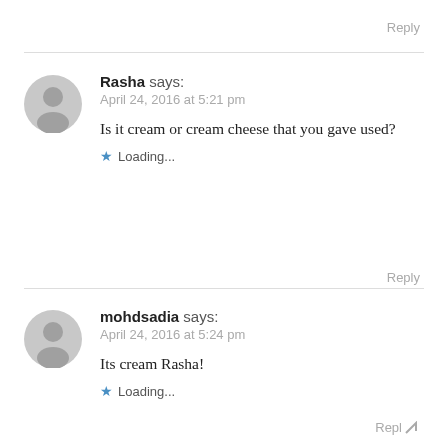Reply
Rasha says:
April 24, 2016 at 5:21 pm
Is it cream or cream cheese that you gave used?
Loading...
Reply
mohdsadia says:
April 24, 2016 at 5:24 pm
Its cream Rasha!
Loading...
Reply